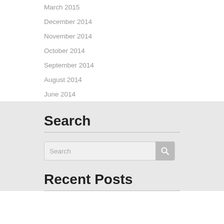March 2015
December 2014
November 2014
October 2014
September 2014
August 2014
June 2014
Search
Recent Posts